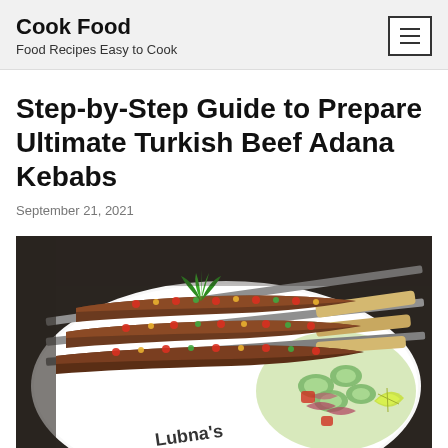Cook Food
Food Recipes Easy to Cook
Step-by-Step Guide to Prepare Ultimate Turkish Beef Adana Kebabs
September 21, 2021
[Figure (photo): A white plate with several Turkish Beef Adana Kebabs on metal skewers, garnished with fresh herbs and topped with chopped red and yellow peppers, served alongside a salad of cucumbers, red onions, tomatoes, and a lime wedge. The plate has the text 'Lubna's' written on it.]